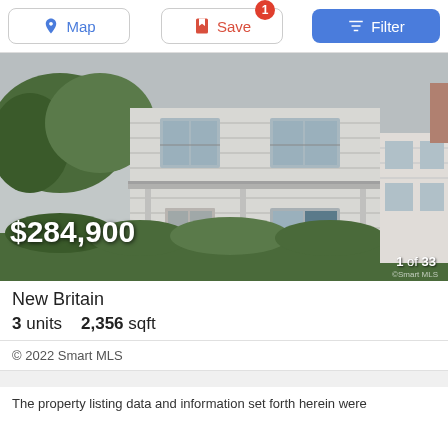[Figure (screenshot): Top toolbar with Map, Save, and Filter buttons]
[Figure (photo): Exterior photo of a white multi-unit residential property in New Britain. Two-story house with covered porch, multiple windows, surrounded by hedges and trees. Neighboring white house visible on the right.]
$284,900
1 of 33
New Britain
3 units    2,356 sqft
© 2022 Smart MLS
The property listing data and information set forth herein were